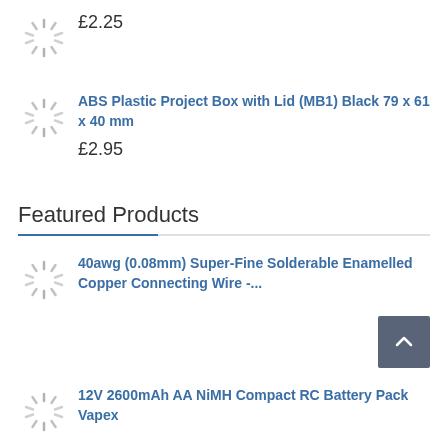[Figure (other): Loading spinner icon (gray radial lines)]
£2.25
[Figure (other): Loading spinner icon (gray radial lines)]
ABS Plastic Project Box with Lid (MB1) Black 79 x 61 x 40 mm
£2.95
Featured Products
[Figure (other): Loading spinner icon (gray radial lines)]
40awg (0.08mm) Super-Fine Solderable Enamelled Copper Connecting Wire -...
[Figure (other): Loading spinner icon (gray radial lines)]
12V 2600mAh AA NiMH Compact RC Battery Pack Vapex